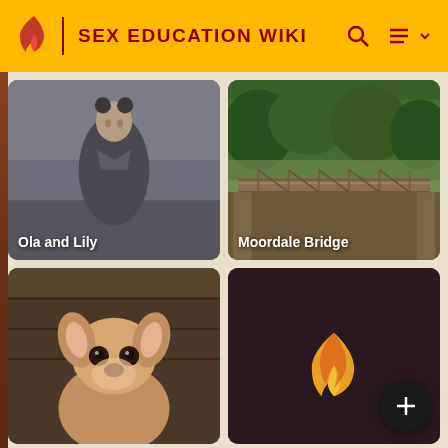SEX EDUCATION WIKI
[Figure (photo): Card showing a girl with buns hairstyle in school uniform in foggy setting, labeled 'Ola and Lily']
[Figure (photo): Card showing a wooden bridge in a green forested area, labeled 'Moordale Bridge']
[Figure (photo): Card showing a chihuahua dog looking at the camera]
[Figure (logo): Dark card with Fandom flame logo in yellow/red]